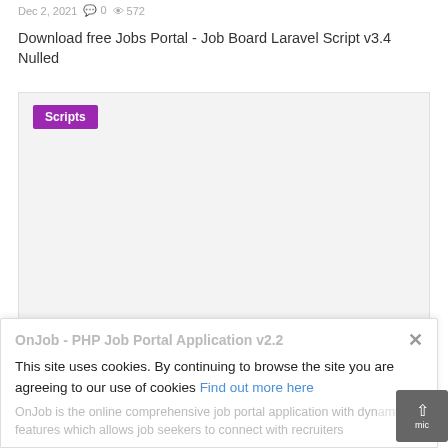Dec 2, 2021  0  572
Download free Jobs Portal - Job Board Laravel Script v3.4 Nulled
[Figure (other): Large gray placeholder image area with a purple 'Scripts' badge/label in the top-left corner]
OnJob - PHP Job Portal Application v2.2
This site uses cookies. By continuing to browse the site you are agreeing to our use of cookies Find out more here
OnJob is the online comprehensive job portal application with dynamic features which allows job seekers to connect with recruiters